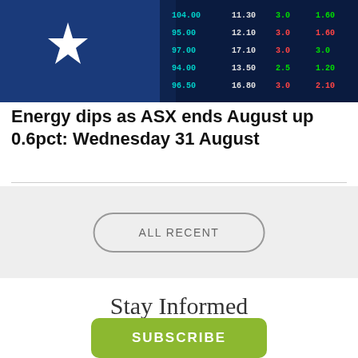[Figure (photo): Australian flag with star on blue background on left, stock market ticker board with colored numbers on right]
Energy dips as ASX ends August up 0.6pct: Wednesday 31 August
ALL RECENT
Stay Informed
Receive regular news and views to keep up-to-date
SUBSCRIBE